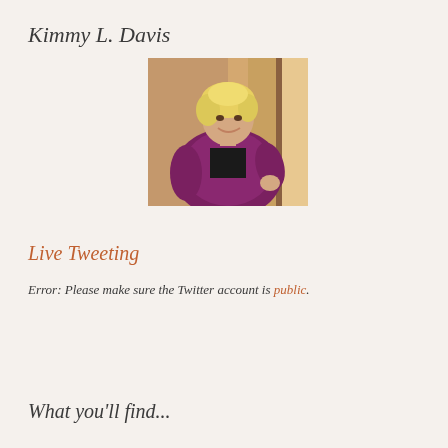Kimmy L. Davis
[Figure (photo): Profile photo of a smiling woman with short blonde hair wearing a purple/magenta cardigan over a black top, standing indoors near a wooden door.]
Live Tweeting
Error: Please make sure the Twitter account is public.
What you'll find...